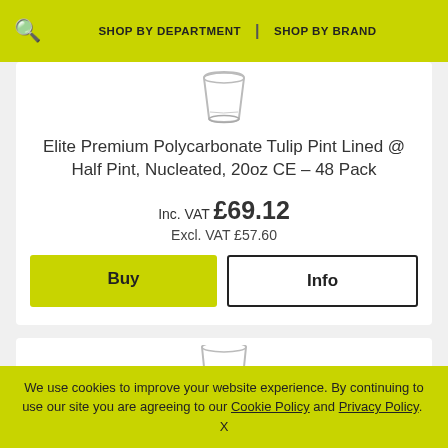SHOP BY DEPARTMENT | SHOP BY BRAND
[Figure (photo): Polycarbonate tulip pint glass viewed from above/side, clear plastic]
Elite Premium Polycarbonate Tulip Pint Lined @ Half Pint, Nucleated, 20oz CE – 48 Pack
Inc. VAT £69.12
Excl. VAT £57.60
Buy
Info
[Figure (photo): Second polycarbonate glass product partially visible]
We use cookies to improve your website experience. By continuing to use our site you are agreeing to our Cookie Policy and Privacy Policy.  X